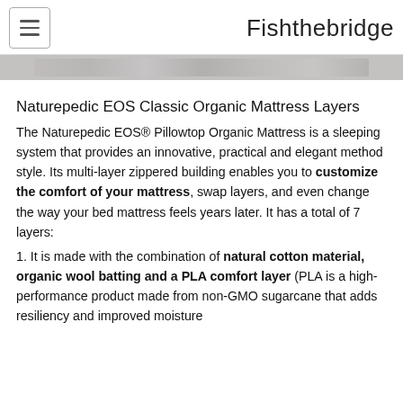Fishthebridge
[Figure (photo): Partial image of mattress layers, shown as a horizontal grey/beige strip]
Naturepedic EOS Classic Organic Mattress Layers
The Naturepedic EOS® Pillowtop Organic Mattress is a sleeping system that provides an innovative, practical and elegant method style. Its multi-layer zippered building enables you to customize the comfort of your mattress, swap layers, and even change the way your bed mattress feels years later. It has a total of 7 layers:
1. It is made with the combination of natural cotton material, organic wool batting and a PLA comfort layer (PLA is a high-performance product made from non-GMO sugarcane that adds resiliency and improved moisture